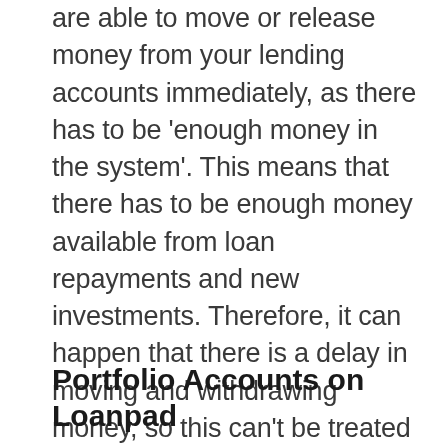are able to move or release money from your lending accounts immediately, as there has to be 'enough money in the system'. This means that there has to be enough money available from loan repayments and new investments. Therefore, it can happen that there is a delay in moving and withdrawing money, so this can't be treated like a normal bank account that happens to come with higher returns – it involves a different risk. As the saying goes: there is no free lunch on the financial markets. No returns come without risk and here, as with most other types of investment, the liquidity risk can happen in bad times.
Portfolio Accounts on Loanpad